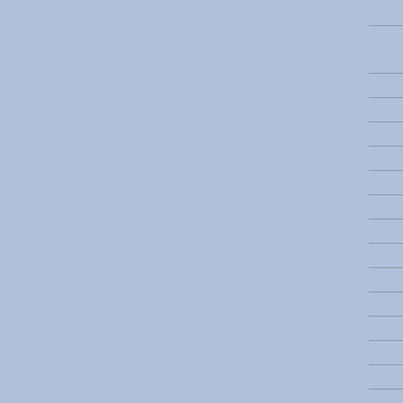| Other mutations in this stock | To (partial) |
| --- | --- |
| (empty) | G... |
| (empty) | A... |
| (empty) | A... |
| (empty) | A... |
| (empty) | A... |
| (empty) | A... |
| (empty) | A... |
| (empty) | A... |
| (empty) | A... |
| (empty) | B... |
| (empty) | C... |
| (empty) | C... |
| (empty) | C... |
| (empty) | C... |